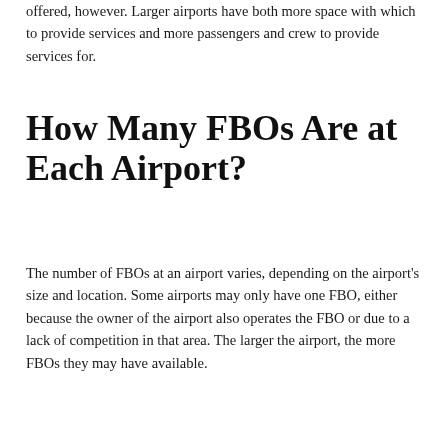offered, however. Larger airports have both more space with which to provide services and more passengers and crew to provide services for.
How Many FBOs Are at Each Airport?
The number of FBOs at an airport varies, depending on the airport's size and location. Some airports may only have one FBO, either because the owner of the airport also operates the FBO or due to a lack of competition in that area. The larger the airport, the more FBOs they may have available.